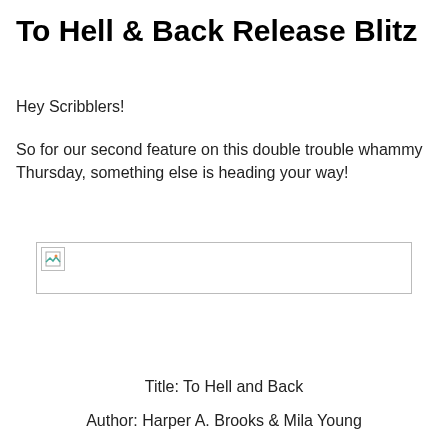To Hell & Back Release Blitz
Hey Scribblers!
So for our second feature on this double trouble whammy Thursday, something else is heading your way!
[Figure (photo): Broken/missing image placeholder with small icon in top-left corner, bordered rectangle]
Title: To Hell and Back
Author: Harper A. Brooks & Mila Young